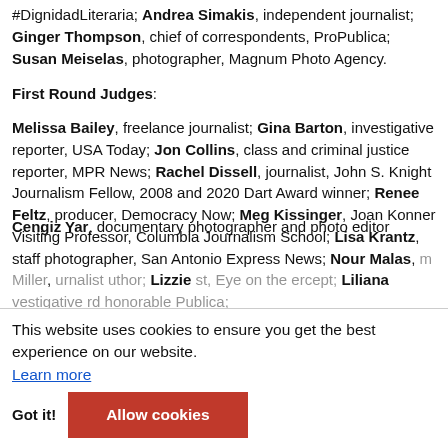#DignidadLiteraria; Andrea Simakis, independent journalist; Ginger Thompson, chief of correspondents, ProPublica; Susan Meiselas, photographer, Magnum Photo Agency.
First Round Judges:
Melissa Bailey, freelance journalist; Gina Barton, investigative reporter, USA Today; Jon Collins, class and criminal justice reporter, MPR News; Rachel Dissell, journalist, John S. Knight Journalism Fellow, 2008 and 2020 Dart Award winner; Renee Feltz, producer, Democracy Now; Meg Kissinger, Joan Konner Visiting Professor, Columbia Journalism School; Lisa Krantz, staff photographer, San Antonio Express News; Nour Malas, [m Miller], journalist [author]; Lizzie [st, Eye on the] [rcept]; Liliana [vestigative] [rd honorable] [Publica]; Cengiz Yar, documentary photographer and photo editor
This website uses cookies to ensure you get the best experience on our website. Learn more
Got it! | Allow cookies